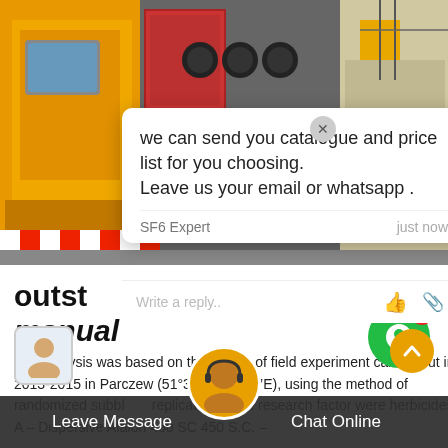[Figure (photo): Background photo showing yellow industrial truck/equipment on left and construction crane/electrical infrastructure on right]
we can send you catalogue and price list for you choosing.
Leave us your email or whatsapp.
SF6 Expert    just now
Write a reply..
outst…rating
manual
The analysis was based on the results of field experiment carried out in 2013-2015 in Parczew (51°38’N, 22&54’E), using the method of randomized subbl… replications. The research factor were herbicides: A – Dispersive Afalon 450 SC 450 S.C. –
Leave Message
Chat Online